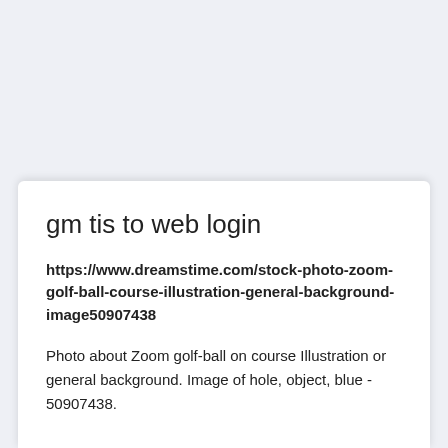gm tis to web login
https://www.dreamstime.com/stock-photo-zoom-golf-ball-course-illustration-general-background-image50907438
Photo about Zoom golf-ball on course Illustration or general background. Image of hole, object, blue - 50907438.